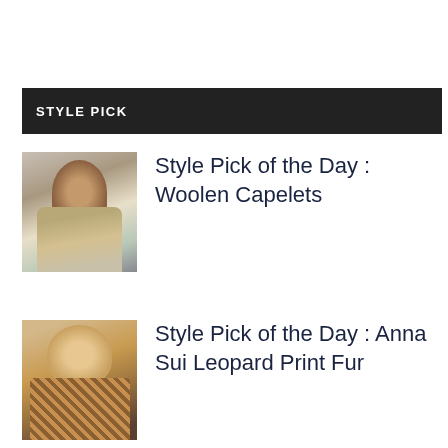STYLE PICK
[Figure (photo): Fashion photo of a young woman with long dark hair wearing a yellow dress and brown capelet/jacket at a fashion show]
Style Pick of the Day : Woolen Capelets
[Figure (photo): Fashion photo of a blonde woman wearing a leopard print fur garment]
Style Pick of the Day : Anna Sui Leopard Print Fur